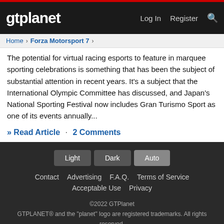gtplanet | Log In | Register
Home > Forza Motorsport 7 >
The potential for virtual racing esports to feature in marquee sporting celebrations is something that has been the subject of substantial attention in recent years. It's a subject that the International Olympic Committee has discussed, and Japan's National Sporting Festival now includes Gran Turismo Sport as one of its events annually...
» Read Article · 2 Comments
Light | Dark | Auto | Contact | Advertising | F.A.Q. | Terms of Service | Acceptable Use | Privacy | ©2022 GTPlanet | GTPLANET® and the "planet" logo are registered trademarks. All rights reserved.